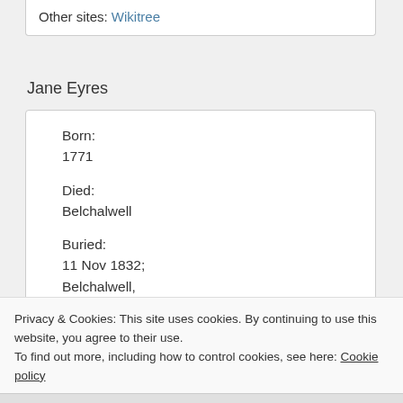Other sites: Wikitree
Jane Eyres
Born:
1771

Died:
Belchalwell

Buried:
11 Nov 1832;
Belchalwell,
Privacy & Cookies: This site uses cookies. By continuing to use this website, you agree to their use.
To find out more, including how to control cookies, see here: Cookie policy
Close and accept